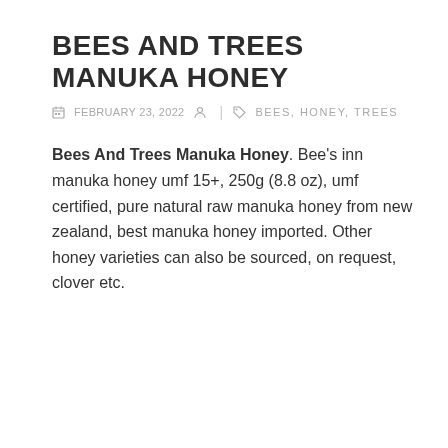BEES AND TREES MANUKA HONEY
FEBRUARY 23, 2022 | BEES, HONEY, TREES
Bees And Trees Manuka Honey. Bee's inn manuka honey umf 15+, 250g (8.8 oz), umf certified, pure natural raw manuka honey from new zealand, best manuka honey imported. Other honey varieties can also be sourced, on request, clover etc.